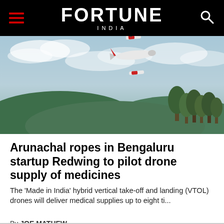FORTUNE INDIA
[Figure (photo): A fixed-wing drone with red and white markings flying against a cloudy sky with green hills and trees in the background]
Arunachal ropes in Bengaluru startup Redwing to pilot drone supply of medicines
The 'Made in India' hybrid vertical take-off and landing (VTOL) drones will deliver medical supplies up to eight ti...
By JOE MATHEW